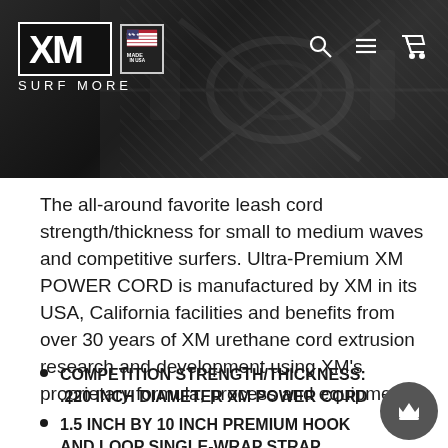[Figure (logo): XM Surf More website header with XM logo, Made in USA badge, SURF MORE tagline, and navigation icons (search, menu, cart) on dark background]
The all-around favorite leash cord strength/thickness for small to medium waves and competitive surfers. Ultra-Premium XM POWER CORD is manufactured by XM in its USA, California facilities and benefits from over 30 years of XM urethane cord extrusion research and development using XM's proprietary formula, process and equipment.
COMPETITION STRENGTH/THICKNESS: .220 INCH DIAMETER XM POWER CORD
1.5 INCH BY 10 INCH PREMIUM HOOK AND LOOP SINGLE-WRAP STRAP